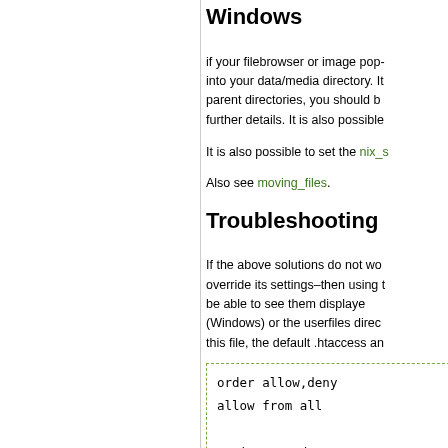Windows
if your filebrowser or image pop-into your data/media directory. It parent directories, you should b further details. It is also possible
It is also possible to set the nix_s
Also see moving_files.
Troubleshooting
If the above solutions do not wo override its settings–then using t be able to see them displaye (Windows) or the userfiles direc this file, the default .htaccess an
order allow,deny
allow from all

Options -Indexes